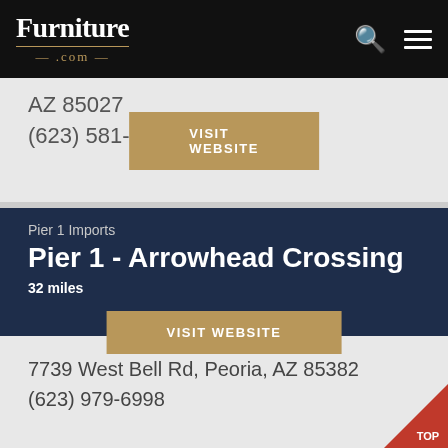Furniture.com
AZ 85027
(623) 581-7478
VISIT WEBSITE
Pier 1 Imports
Pier 1 - Arrowhead Crossing
32 miles
7739 West Bell Rd, Peoria, AZ 85382
(623) 979-6998
VISIT WEBSITE
TOP